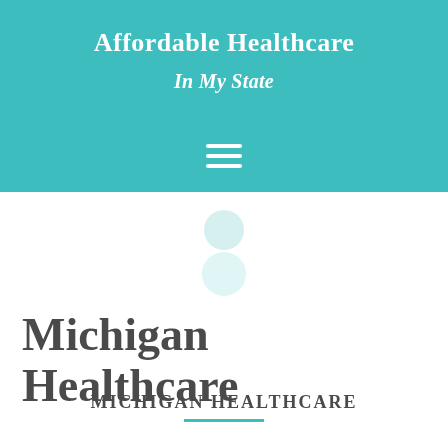Affordable Healthcare
In My State
[Figure (illustration): Hamburger/menu icon with three horizontal white lines on teal background]
[Figure (illustration): Person/user silhouette icon composed of two light teal circles (head and body) on white background]
Michigan Healthcare
MICHIGAN HEALTHCARE